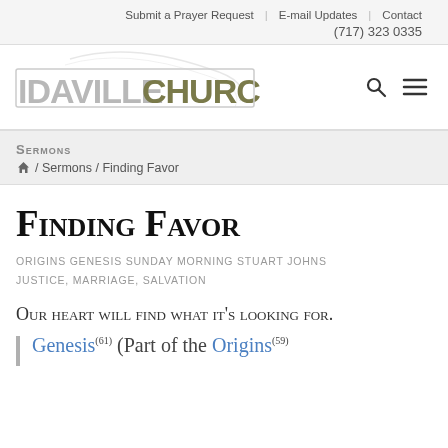Submit a Prayer Request | E-mail Updates | Contact | (717) 323 0335
[Figure (logo): Idaville Church logo with swoosh graphic and text IDAVILLE CHURCH]
Sermons
/ Sermons / Finding Favor
Finding Favor
ORIGINS GENESIS SUNDAY MORNING STUART JOHNS
JUSTICE, MARRIAGE, SALVATION
Our heart will find what it's looking for.
Genesis(61) (Part of the Origins(59)